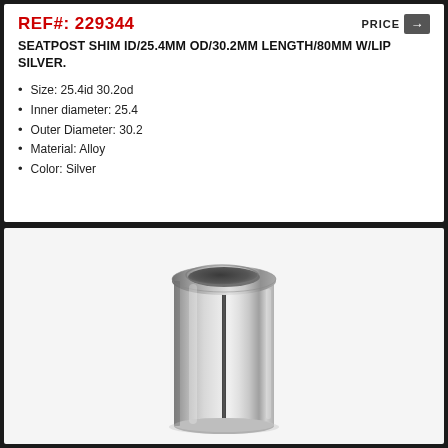REF#: 229344
SEATPOST SHIM ID/25.4MM OD/30.2MM LENGTH/80MM W/LIP SILVER.
Size: 25.4id 30.2od
Inner diameter: 25.4
Outer Diameter: 30.2
Material: Alloy
Color: Silver
[Figure (photo): Silver alloy seatpost shim cylinder with lip at top and vertical slot, shown at an angle on white background]